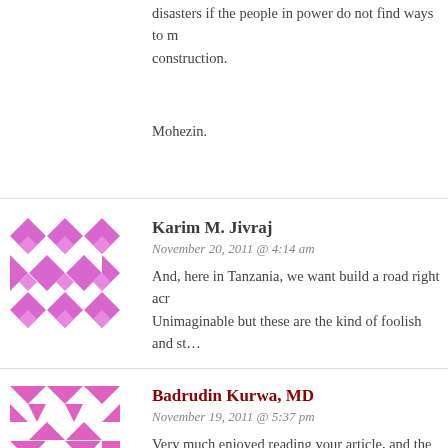disasters if the people in power do not find ways to m... construction.
Mohezin.
Karim M. Jivraj
November 20, 2011 @ 4:14 am
And, here in Tanzania, we want build a road right acr... Unimaginable but these are the kind of foolish and st...
Badrudin Kurwa, MD
November 19, 2011 @ 5:37 pm
Very much enjoyed reading your article, and the ackn... is a contradiction when you bring up the idea of 'Natu... into the 'Intelligent Design' camp. I would have thou... recognition that he has laid the foundation for a self e... to the evolution of the most complex animal, 'the hur... any other higher source. It is proof positive that rando... rules (Natural Selection and the external ever changin...